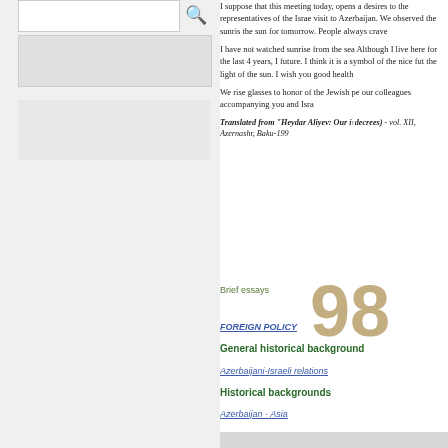[Figure (screenshot): Left panel with search box, search icon, and gray bars representing UI sidebar elements]
I suppose that this meeting today, opens a desires to the representatives of the Israe visit to Azerbaijan. We observed the sunris the sun for tomorrow. People always crave
I have not watched sunrise from the sea Although I live here for the last 4 years, I future. I think it is a symbol of the nice fut the light of the sun. I wish you good health
We rise glasses to honor of the Jewish pe our colleagues accompanying you and Isra
Translated from "Heydar Aliyev: Our ir decrees) - vol. XII, Azernashr, Baku-199
Brief essays
98
FOREIGN POLICY
General historical background
Azerbaijani-Israeli relations
Historical backgrounds
Azerbaijan - Asia